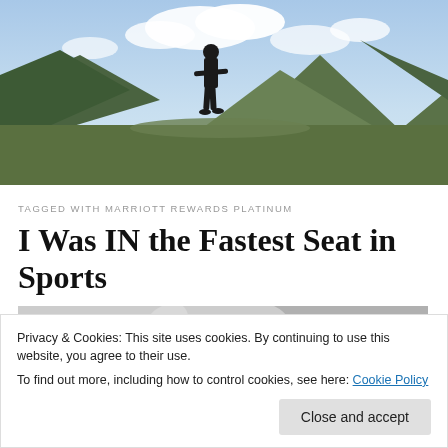[Figure (photo): Person standing on a rock with mountain landscape and clouds in the background, viewed from below]
TAGGED WITH MARRIOTT REWARDS PLATINUM
I Was IN the Fastest Seat in Sports
[Figure (photo): Partial view of a racing car or sports vehicle, white surface visible at top]
Privacy & Cookies: This site uses cookies. By continuing to use this website, you agree to their use.
To find out more, including how to control cookies, see here: Cookie Policy
Close and accept